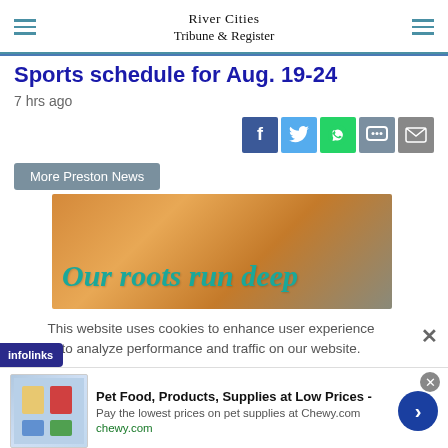River Cities Tribune & Register
Sports schedule for Aug. 19-24
7 hrs ago
[Figure (other): Social share buttons: Facebook, Twitter, WhatsApp, Chat, Email]
More Preston News
[Figure (other): Banner advertisement with warm orange background reading 'Our roots run deep' in teal cursive script]
This website uses cookies to enhance user experience to analyze performance and traffic on our website.
[Figure (other): Advertisement: Pet Food, Products, Supplies at Low Prices - Pay the lowest prices on pet supplies at Chewy.com. chewy.com]